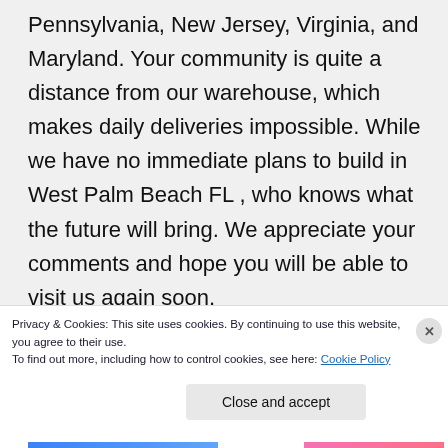Pennsylvania, New Jersey, Virginia, and Maryland. Your community is quite a distance from our warehouse, which makes daily deliveries impossible. While we have no immediate plans to build in West Palm Beach FL , who knows what the future will bring. We appreciate your comments and hope you will be able to visit us again soon.
Privacy & Cookies: This site uses cookies. By continuing to use this website, you agree to their use.
To find out more, including how to control cookies, see here: Cookie Policy